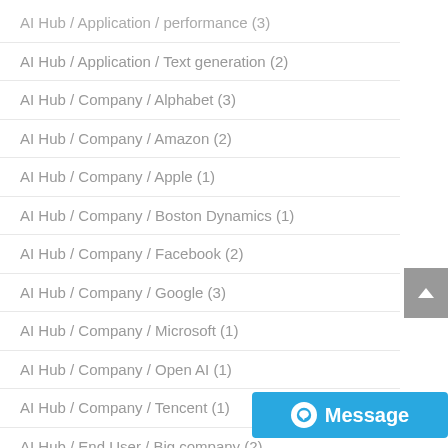AI Hub / Application / Text generation (2)
AI Hub / Company / Alphabet (3)
AI Hub / Company / Amazon (2)
AI Hub / Company / Apple (1)
AI Hub / Company / Boston Dynamics (1)
AI Hub / Company / Facebook (2)
AI Hub / Company / Google (3)
AI Hub / Company / Microsoft (1)
AI Hub / Company / Open AI (1)
AI Hub / Company / Tencent (1)
AI Hub / End User / Big company (2)
AI Hub / End User / Consumer (partially visible)
AI Hub / End User / Government (9)